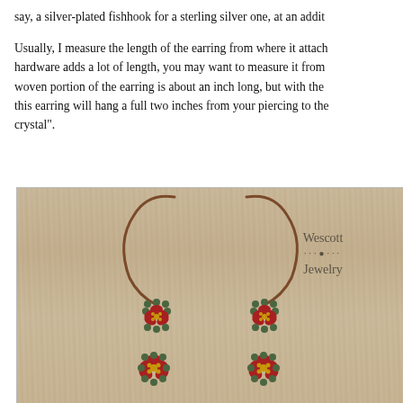say, a silver-plated fishhook for a sterling silver one, at an addit
Usually, I measure the length of the earring from where it attach hardware adds a lot of length, you may want to measure it from woven portion of the earring is about an inch long, but with the this earring will hang a full two inches from your piercing to the crystal".
[Figure (photo): Photo of two handmade beaded earrings with red flower-shaped beaded pendants and green seed beads, hanging on long bronze kidney wire hooks, laid on a wooden surface. Watermark reads 'Wescott Jewelry' in the upper right.]